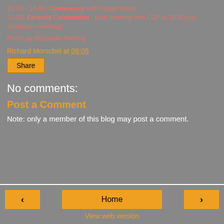15.06 - 16.06: Conference with Edgar Mayer 23.06: Eastsite Celebration - joint meeting with CZF at 10:30 (no afternoon meeting)
Photo by Elizabeth Nehring
Richard Morschel at 09:05
Share
No comments:
Post a Comment
Note: only a member of this blog may post a comment.
< Home > View web version